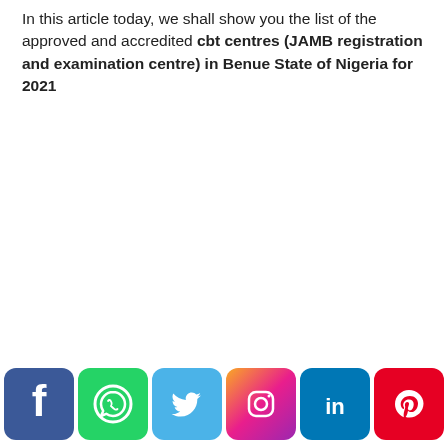In this article today, we shall show you the list of the approved and accredited cbt centres (JAMB registration and examination centre) in Benue State of Nigeria for 2021
[Figure (infographic): Social media share buttons: Facebook (blue), WhatsApp (green), Twitter (light blue), Instagram (gradient), LinkedIn (blue), Pinterest (red)]